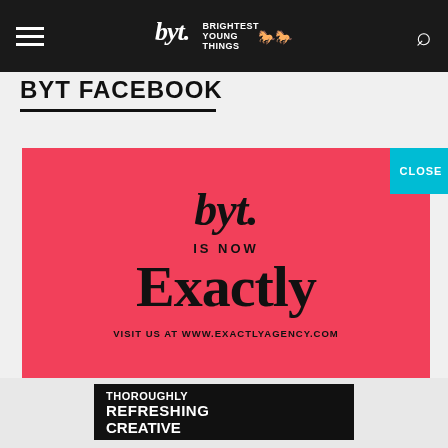BYT (Brightest Young Things) navigation bar with hamburger menu, logo, and search icon
BYT FACEBOOK
[Figure (infographic): Pink/coral advertisement banner on a salmon-red background. In the center, the BYT script logo appears in italic script, followed by 'IS NOW' in spaced uppercase letters, then 'Exactly' in large bold serif font, and below that 'VISIT US AT WWW.EXACTLYAGENCY.COM' in small uppercase letters. A cyan 'CLOSE' button appears in the top-right corner.]
[Figure (photo): Partial view of a black advertisement showing 'THOROUGHLY REFRESHING CREATIVE' in white bold uppercase text, partially cropped at the bottom of the page.]